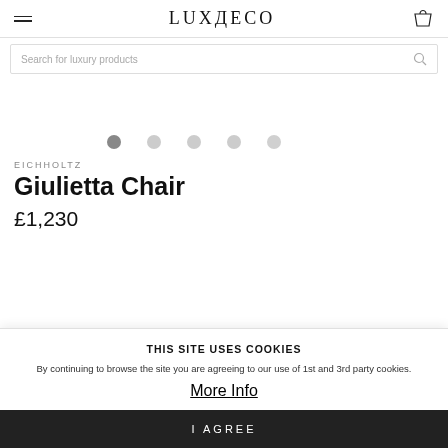LUXDECO
Search for luxury products
[Figure (other): Image carousel dots — 5 dots, first one active (dark), rest light grey]
EICHHOLTZ
Giulietta Chair
£1,230
THIS SITE USES COOKIES
By continuing to browse the site you are agreeing to our use of 1st and 3rd party cookies.
More Info
I AGREE
ESTIMATED DELIVERY: 2-6 WEEKS